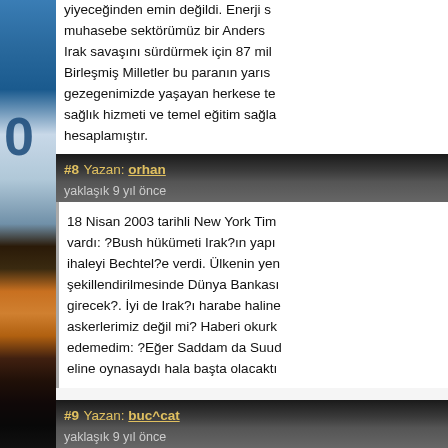yiyeceğinden emin değildi. Enerji sektörümüz, muhasebe sektörümüz bir Anders... Irak savaşını sürdürmek için 87 milyar dolar. Birleşmiş Milletler bu paranın yarısıyla gezegenimizde yaşayan herkese temel sağlık hizmeti ve temel eğitim sağlayabileceğini hesaplamıştır.
#8 Yazan: orhan
yaklaşık 9 yıl önce
18 Nisan 2003 tarihli New York Tim... vardı: ?Bush hükümeti Irak?ın yapı... ihaleyi Bechtel?e verdi. Ülkenin yen... şekillendirilmesinde Dünya Bankası... girecek?. İyi de Irak?ı harabe haline... askerlerimiz değil mi? Haberi okurk... edemedim: ?Eğer Saddam da Suudi... eline oynasaydı hala başta olacaktı...
#9 Yazan: buc^cat
yaklaşık 9 yıl önce